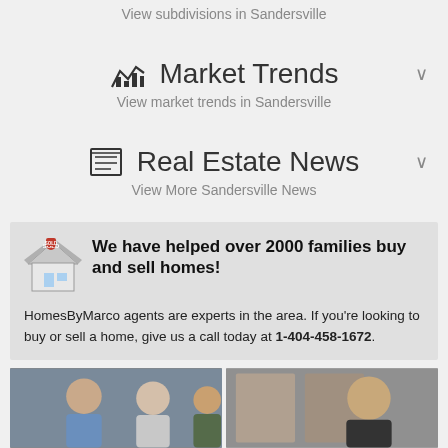View subdivisions in Sandersville
Market Trends
View market trends in Sandersville
Real Estate News
View More Sandersville News
We have helped over 2000 families buy and sell homes!
HomesByMarco agents are experts in the area. If you're looking to buy or sell a home, give us a call today at 1-404-458-1672.
[Figure (photo): Two photos of real estate agents side by side]